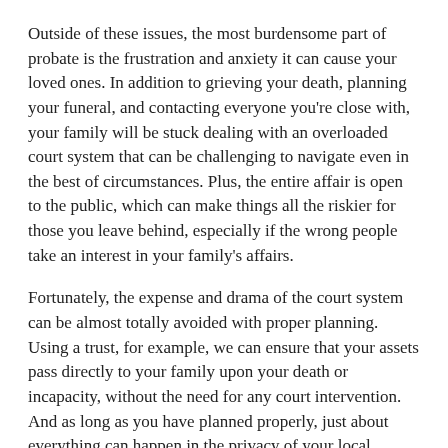Outside of these issues, the most burdensome part of probate is the frustration and anxiety it can cause your loved ones. In addition to grieving your death, planning your funeral, and contacting everyone you're close with, your family will be stuck dealing with an overloaded court system that can be challenging to navigate even in the best of circumstances. Plus, the entire affair is open to the public, which can make things all the riskier for those you leave behind, especially if the wrong people take an interest in your family's affairs.
Fortunately, the expense and drama of the court system can be almost totally avoided with proper planning. Using a trust, for example, we can ensure that your assets pass directly to your family upon your death or incapacity, without the need for any court intervention. And as long as you have planned properly, just about everything can happen in the privacy of your local Personal Family Lawyer®'s office and on your family's time.
4. Minimize the Mess
Entirely separate from anything to do with court, conflict, or your